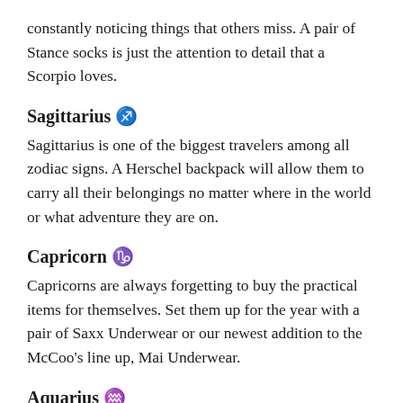constantly noticing things that others miss. A pair of Stance socks is just the attention to detail that a Scorpio loves.
Sagittarius ♐
Sagittarius is one of the biggest travelers among all zodiac signs. A Herschel backpack will allow them to carry all their belongings no matter where in the world or what adventure they are on.
Capricorn ♑
Capricorns are always forgetting to buy the practical items for themselves. Set them up for the year with a pair of Saxx Underwear or our newest addition to the McCoo's line up, Mai Underwear.
Aquarius ♒